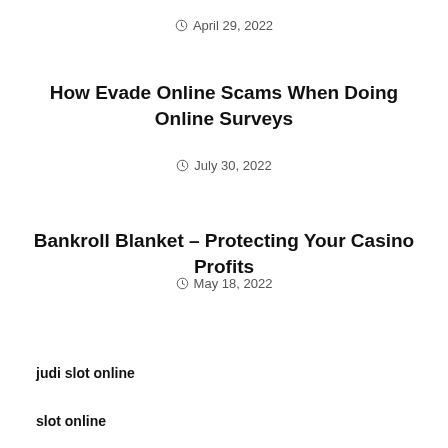April 29, 2022
How Evade Online Scams When Doing Online Surveys
July 30, 2022
Bankroll Blanket – Protecting Your Casino Profits
May 18, 2022
judi slot online
slot online